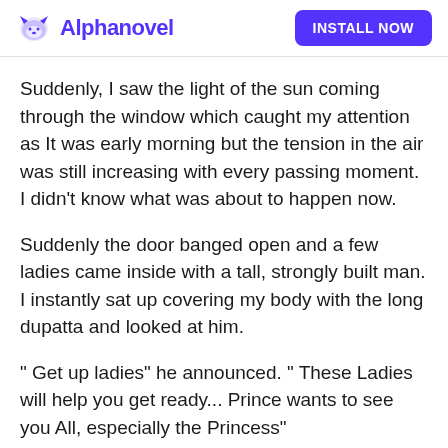Alphanovel   INSTALL NOW
Suddenly, I saw the light of the sun coming through the window which caught my attention as It was early morning but the tension in the air was still increasing with every passing moment. I didn't know what was about to happen now.
Suddenly the door banged open and a few ladies came inside with a tall, strongly built man. I instantly sat up covering my body with the long dupatta and looked at him.
" Get up ladies" he announced. " These Ladies will help you get ready... Prince wants to see you All, especially the Princess"